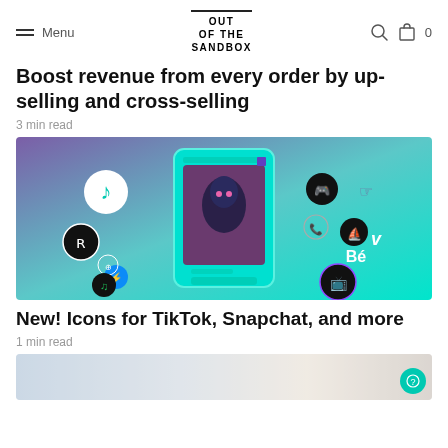Menu | OUT OF THE SANDBOX | Search | Bag 0
Boost revenue from every order by up-selling and cross-selling
3 min read
[Figure (illustration): Colorful gradient illustration (purple to teal) showing a smartphone with social media icons: TikTok, Reddit, Messenger, Dribbble, Snapchat, Discord, WhatsApp, OpenSea, Vimeo, Behance, Twitch, Spotify. A woman with glowing eyes is shown on the phone screen.]
New! Icons for TikTok, Snapchat, and more
1 min read
[Figure (photo): Bottom cropped/blurred image preview of next article]